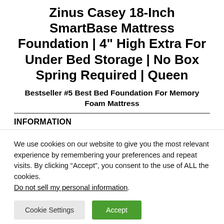Zinus Casey 18-Inch SmartBase Mattress Foundation | 4" High Extra For Under Bed Storage | No Box Spring Required | Queen
Bestseller #5 Best Bed Foundation For Memory Foam Mattress
INFORMATION
We use cookies on our website to give you the most relevant experience by remembering your preferences and repeat visits. By clicking “Accept”, you consent to the use of ALL the cookies. Do not sell my personal information.